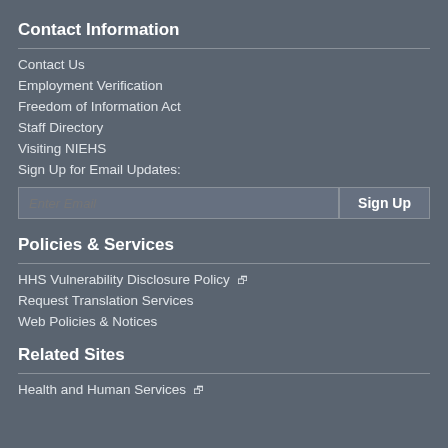Contact Information
Contact Us
Employment Verification
Freedom of Information Act
Staff Directory
Visiting NIEHS
Sign Up for Email Updates:
Policies & Services
HHS Vulnerability Disclosure Policy
Request Translation Services
Web Policies & Notices
Related Sites
Health and Human Services